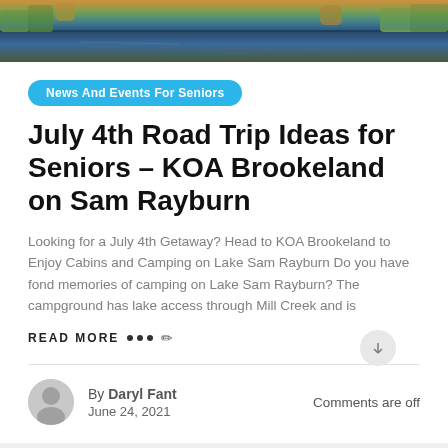[Figure (photo): Header photo of a lake reflection with trees and sky, colorful autumn/landscape scene]
News And Events For Seniors
July 4th Road Trip Ideas for Seniors – KOA Brookeland on Sam Rayburn
Looking for a July 4th Getaway? Head to KOA Brookeland to Enjoy Cabins and Camping on Lake Sam Rayburn Do you have fond memories of camping on Lake Sam Rayburn? The campground has lake access through Mill Creek and is
READ MORE ••• ✏
By Daryl Fant
June 24, 2021
Comments are off